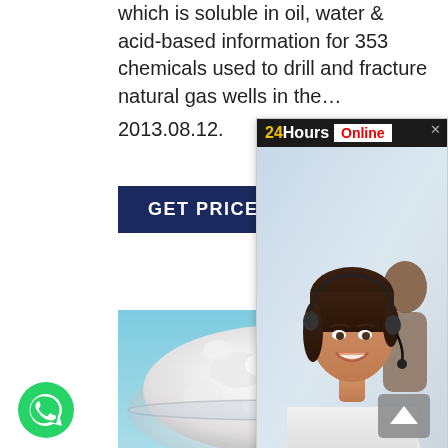which is soluble in oil, water & acid-based information for 353 chemicals used to drill and fracture natural gas wells in the…
2013.08.12.
GET PRICE
[Figure (screenshot): 24Hours Online chat widget with call center agent photo and 'Click To Chat' red button]
[Figure (photo): White powder chemical in a glass bowl on a light blue background]
[Figure (illustration): WhatsApp green circle button]
[Figure (illustration): Grey scroll-to-top button with upward arrow]